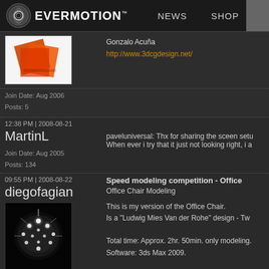EVERMOTION  NEWS  SHOP
[Figure (screenshot): Orange 3D cube render avatar image]
Gonzalo Acuña
http://www.3dcgdesign.net/
Join Date: Aug 2006
Posts: 5
12:38 PM | 2008-08-21
MartinL
paveluniversal: Thx for sharing the sceen setu When ever i try that it just not looking right, i a
Join Date: Aug 2005
Posts: 134
09:55 PM | 2008-08-22
diegofagian
Speed modeling competition - Office
Office Chair Modeling
[Figure (photo): Glowing spherical 3D model render on black background]
This is my version of the Office Chair.
Is a "Ludwig Mies Van der Rohe" design - Tw

Total time: Approx. 2hr. 50min. only modeling.
Software: 3ds Max 2009.
Join Date: Oct 2006
Posts: 14